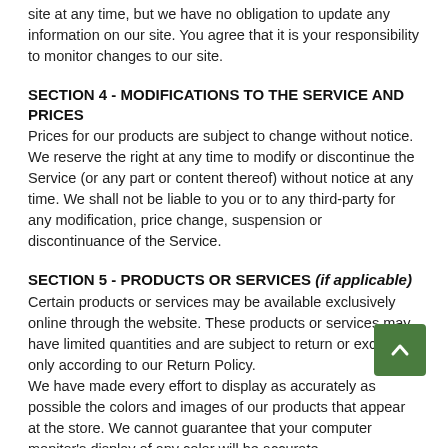site at any time, but we have no obligation to update any information on our site. You agree that it is your responsibility to monitor changes to our site.
SECTION 4 - MODIFICATIONS TO THE SERVICE AND PRICES
Prices for our products are subject to change without notice. We reserve the right at any time to modify or discontinue the Service (or any part or content thereof) without notice at any time. We shall not be liable to you or to any third-party for any modification, price change, suspension or discontinuance of the Service.
SECTION 5 - PRODUCTS OR SERVICES (if applicable)
Certain products or services may be available exclusively online through the website. These products or services may have limited quantities and are subject to return or exchange only according to our Return Policy.
We have made every effort to display as accurately as possible the colors and images of our products that appear at the store. We cannot guarantee that your computer monitor's display of any color will be accurate.
We reserve the right, but are not obligated, to limit the sales of our products or Services to any person, geographic region or jurisdiction. We may exercise this right on a case-by-case basis.